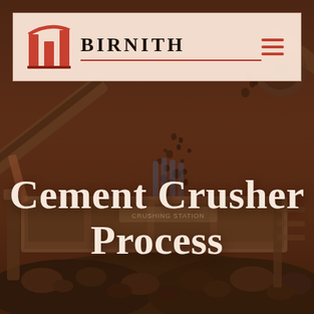[Figure (photo): Industrial cement crusher / crushing station machine with conveyor belts and rock/aggregate material, sepia-toned dark background photo]
BIRNITH
Cement Crusher Process